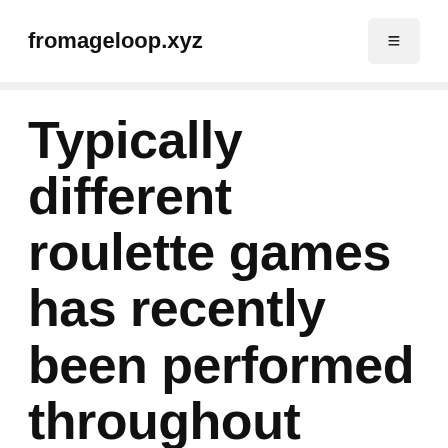fromageloop.xyz
Typically different roulette games has recently been performed throughout regular offline